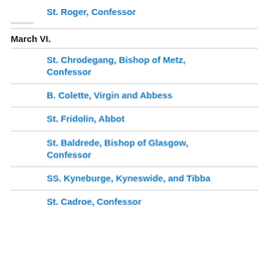St. Roger, Confessor
March VI.
St. Chrodegang, Bishop of Metz, Confessor
B. Colette, Virgin and Abbess
St. Fridolin, Abbot
St. Baldrede, Bishop of Glasgow, Confessor
SS. Kyneburge, Kyneswide, and Tibba
St. Cadroe, Confessor